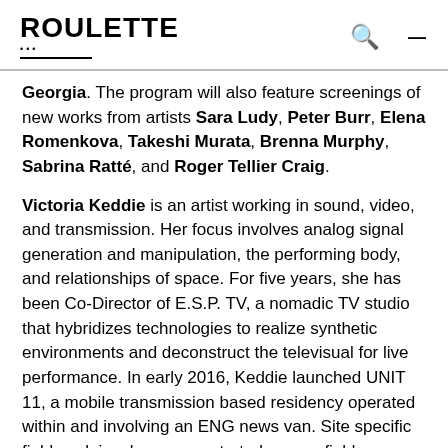ROULETTE
Georgia. The program will also feature screenings of new works from artists Sara Ludy, Peter Burr, Elena Romenkova, Takeshi Murata, Brenna Murphy, Sabrina Ratté, and Roger Tellier Craig.
Victoria Keddie is an artist working in sound, video, and transmission. Her focus involves analog signal generation and manipulation, the performing body, and relationships of space. For five years, she has been Co-Director of E.S.P. TV, a nomadic TV studio that hybridizes technologies to realize synthetic environments and deconstruct the televisual for live performance. In early 2016, Keddie launched UNIT 11, a mobile transmission based residency operated within and involving an ENG news van. Site specific field work involves concentrated energy fields, fluctuating electromagnetic activity...